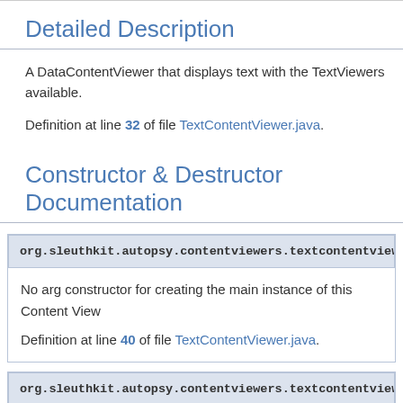Detailed Description
A DataContentViewer that displays text with the TextViewers available.
Definition at line 32 of file TextContentViewer.java.
Constructor & Destructor Documentation
org.sleuthkit.autopsy.contentviewers.textcontentviewer.TextCon
No arg constructor for creating the main instance of this Content View
Definition at line 40 of file TextContentViewer.java.
org.sleuthkit.autopsy.contentviewers.textcontentviewer.TextCon